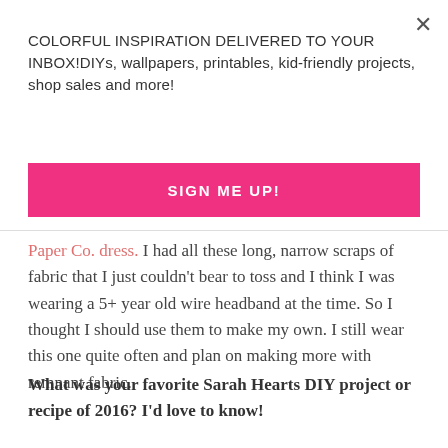×
COLORFUL INSPIRATION DELIVERED TO YOUR INBOX!DIYs, wallpapers, printables, kid-friendly projects, shop sales and more!
SIGN ME UP!
Paper Co. dress. I had all these long, narrow scraps of fabric that I just couldn't bear to toss and I think I was wearing a 5+ year old wire headband at the time. So I thought I should use them to make my own. I still wear this one quite often and plan on making more with remnant fabric.
What was your favorite Sarah Hearts DIY project or recipe of 2016? I'd love to know!